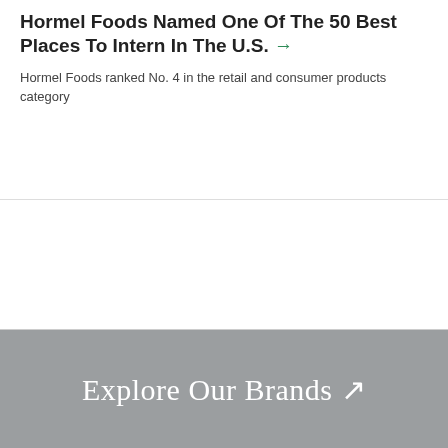Hormel Foods Named One Of The 50 Best Places To Intern In The U.S. →
Hormel Foods ranked No. 4 in the retail and consumer products category
[Figure (other): White empty image area in the middle section of the page]
Explore Our Brands ↗